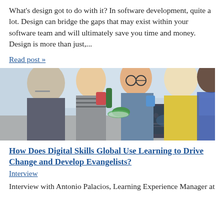What's design got to do with it? In software development, quite a lot. Design can bridge the gaps that may exist within your software team and will ultimately save you time and money.   Design is more than just,...
Read post »
[Figure (photo): Group of professionals sitting around a table with a laptop, smiling and talking, in a modern bright office setting]
How Does Digital Skills Global Use Learning to Drive Change and Develop Evangelists?
Interview
Interview with Antonio Palacios, Learning Experience Manager at